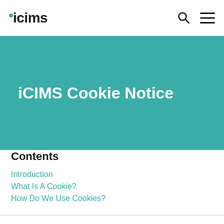iCIMS
iCIMS Cookie Notice
Contents
Introduction
What Is A Cookie?
How Do We Use Cookies?